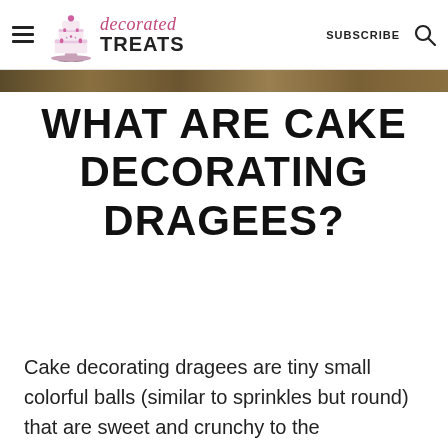decorated TREATS | SUBSCRIBE
[Figure (photo): Partial photograph strip showing a golden/brown food item, cropped at top of page]
WHAT ARE CAKE DECORATING DRAGEES?
Cake decorating dragees are tiny small colorful balls (similar to sprinkles but round) that are sweet and crunchy to the